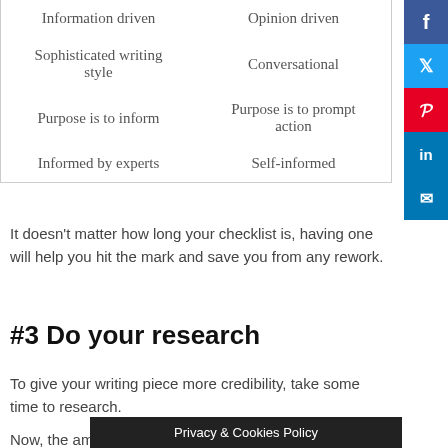| Information driven | Opinion driven |
| Sophisticated writing style | Conversational |
| Purpose is to inform | Purpose is to prompt action |
| Informed by experts | Self-informed |
It doesn't matter how long your checklist is, having one will help you hit the mark and save you from any rework.
#3 Do your research
To give your writing piece more credibility, take some time to research.
Now, the amount of                                                    end on